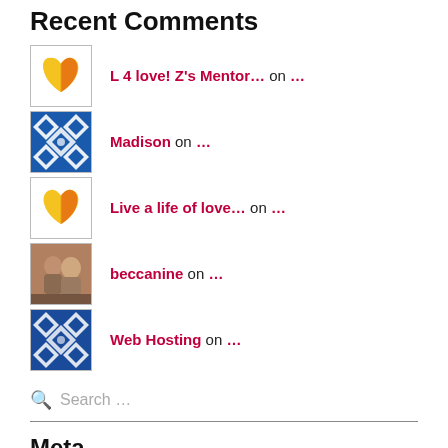Recent Comments
L 4 love! Z's Mentor… on …
Madison on …
Live a life of love… on …
beccanine on …
Web Hosting on …
Search …
Meta
Register